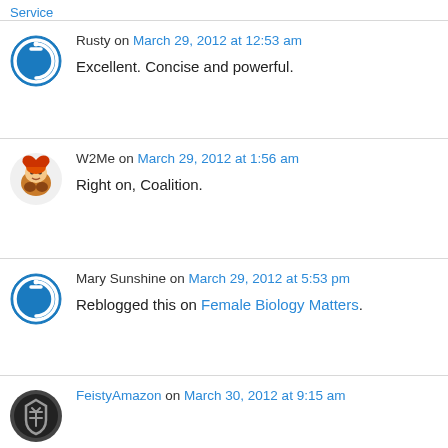Service
Rusty on March 29, 2012 at 12:53 am
Excellent. Concise and powerful.
W2Me on March 29, 2012 at 1:56 am
Right on, Coalition.
Mary Sunshine on March 29, 2012 at 5:53 pm
Reblogged this on Female Biology Matters.
FeistyAmazon on March 30, 2012 at 9:15 am